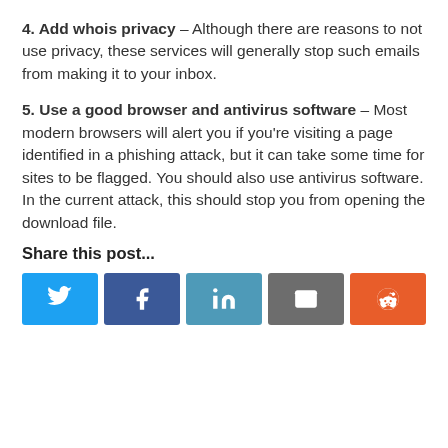4. Add whois privacy – Although there are reasons to not use privacy, these services will generally stop such emails from making it to your inbox.
5. Use a good browser and antivirus software – Most modern browsers will alert you if you're visiting a page identified in a phishing attack, but it can take some time for sites to be flagged. You should also use antivirus software. In the current attack, this should stop you from opening the download file.
Share this post...
[Figure (other): Social share buttons: Twitter (blue), Facebook (dark blue), LinkedIn (teal), Email (grey), Reddit (orange)]